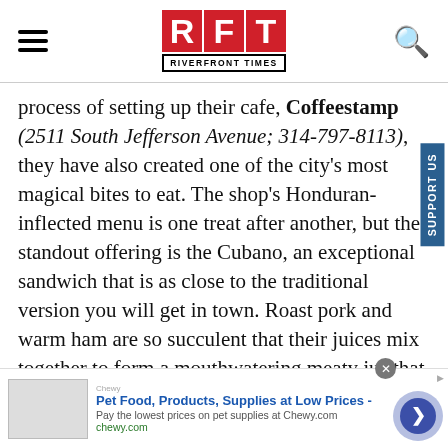RFT RIVERFRONT TIMES
process of setting up their cafe, Coffeestamp (2511 South Jefferson Avenue; 314-797-8113), they have also created one of the city’s most magical bites to eat. The shop’s Honduran-inflected menu is one treat after another, but the standout offering is the Cubano, an exceptional sandwich that is as close to the traditional version you will get in town. Roast pork and warm ham are so succulent that their juices mix together to form a mouthwatering meaty jus that soaks into the perfectly crisped, airy Cuban
Pet Food, Products, Supplies at Low Prices - Pay the lowest prices on pet supplies at Chewy.com chewy.com